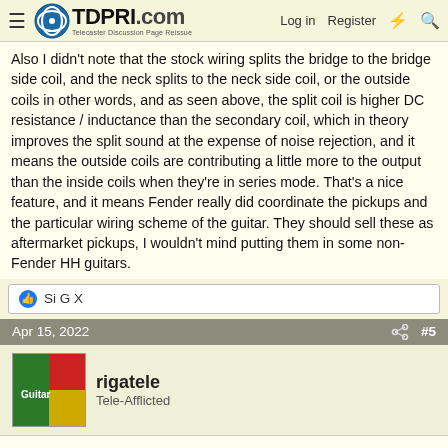TDPRI.com Telecaster Discussion Page Reissue — Log in | Register
Also I didn't note that the stock wiring splits the bridge to the bridge side coil, and the neck splits to the neck side coil, or the outside coils in other words, and as seen above, the split coil is higher DC resistance / inductance than the secondary coil, which in theory improves the split sound at the expense of noise rejection, and it means the outside coils are contributing a little more to the output than the inside coils when they're in series mode. That's a nice feature, and it means Fender really did coordinate the pickups and the particular wiring scheme of the guitar. They should sell these as aftermarket pickups, I wouldn't mind putting them in some non-Fender HH guitars.
👍 Si G X
Apr 15, 2022  #5
rigatele
Tele-Afflicted
That is a cool way to feed the wires, the stubs and external